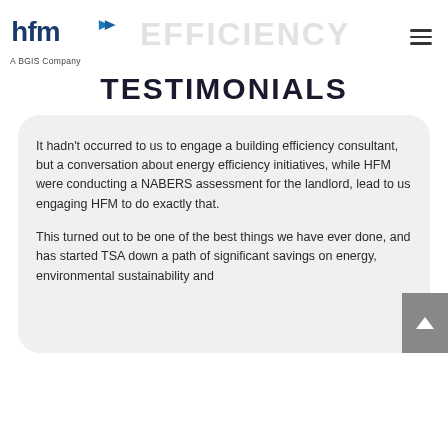hfm A BGIS Company — EFFICIENCY
TESTIMONIALS
It hadn't occurred to us to engage a building efficiency consultant, but a conversation about energy efficiency initiatives, while HFM were conducting a NABERS assessment for the landlord, lead to us engaging HFM to do exactly that.
This turned out to be one of the best things we have ever done, and has started TSA down a path of significant savings on energy, environmental sustainability and